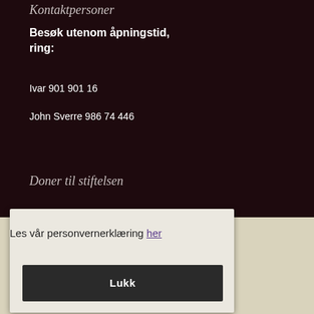Kontaktpersoner
Besøk utenom åpningstid, ring:
Ivar 901 901 16
John Sverre 986 74 446
Doner til stiftelsen
Les vår personvernerklæring her
Lukk